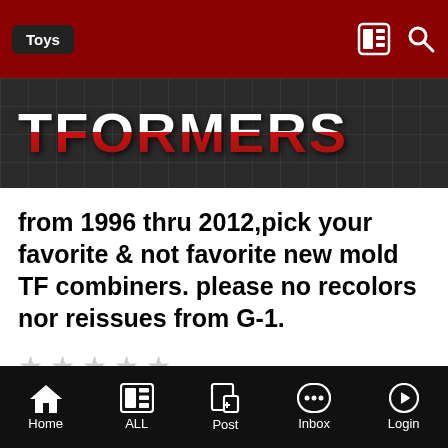Toys
[Figure (logo): TFORMERS website logo in red and white on dark grid background]
from 1996 thru 2012,pick your favorite & not favorite new mold TF combiners. please no recolors nor reissues from G-1.
By Shadowpanther, March 4, 2012 in Toys
Home ALL Post Inbox Login